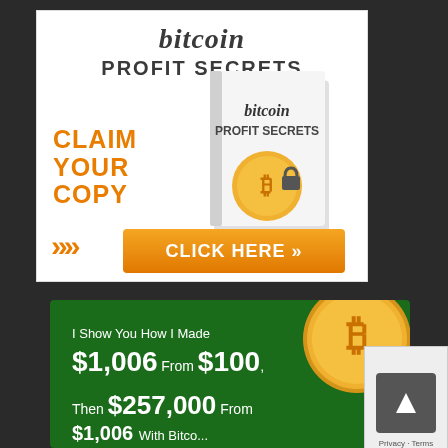[Figure (infographic): Bitcoin Profit Secrets advertisement banner: white background with italic bold 'bitcoin' title, 'PROFIT SECRETS' subtitle, orange 'CLAIM YOUR COPY' text with double chevron arrows, a book graphic showing 'bitcoin PROFIT SECRETS', and an orange 'CLICK HERE >>' button.]
[Figure (infographic): Green background promotional banner with a gold Bitcoin coin graphic, text reading 'I Show You How I Made $1,006 From $100, Then $257,000 From $1,006 With Bitco...' and a Privacy/Terms badge in the bottom right corner.]